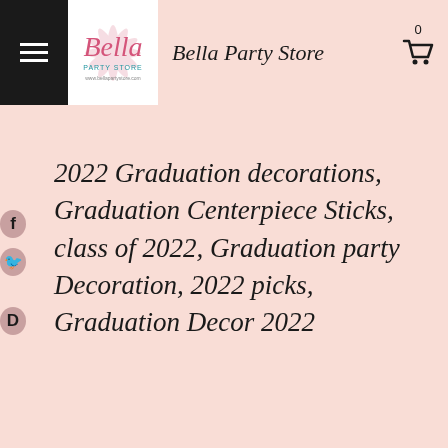Bella Party Store
2022 Graduation decorations, Graduation Centerpiece Sticks, class of 2022, Graduation party Decoration, 2022 picks, Graduation Decor 2022